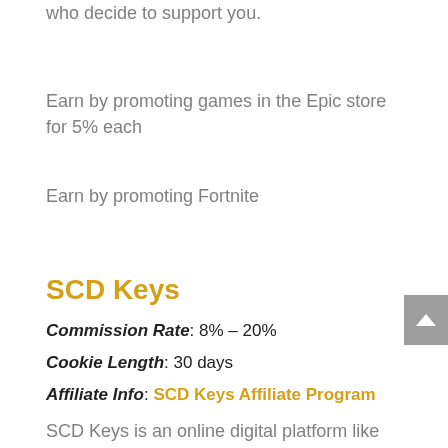who decide to support you.
Earn by promoting games in the Epic store for 5% each
Earn by promoting Fortnite
SCD Keys
Commission Rate: 8% – 20%
Cookie Length: 30 days
Affiliate Info: SCD Keys Affiliate Program
SCD Keys is an online digital platform like